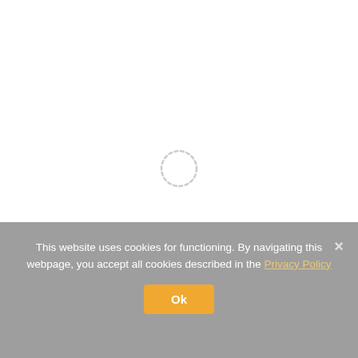[Figure (other): Loading spinner - circular dashed ring animation indicator centered on white background]
This website uses cookies for functioning. By navigating this webpage, you accept all cookies described in the Privacy Policy
Ok